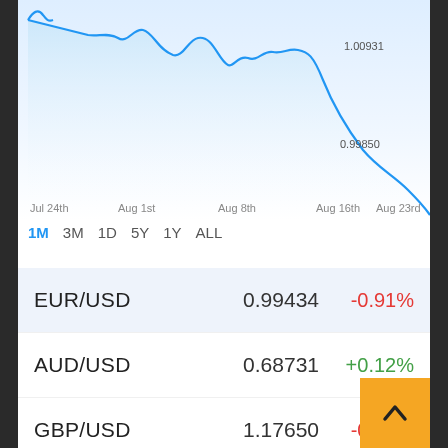[Figure (continuous-plot): EUR/USD line chart showing price decline from approximately 1.00931 to 0.99850 over the period Jul 24th to Aug 23rd. Blue line on light blue gradient background.]
1M 3M 1D 5Y 1Y ALL
| Pair | Value | Change |
| --- | --- | --- |
| EUR/USD | 0.99434 | -0.91% |
| AUD/USD | 0.68731 | +0.12% |
| GBP/USD | 1.17650 | -0.49% |
| USD/JPY | 137.419 | +0.41% |
| USD/CAD | 1.30562 | +0.58% |